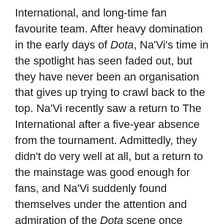International, and long-time fan favourite team. After heavy domination in the early days of Dota, Na'Vi's time in the spotlight has seen faded out, but they have never been an organisation that gives up trying to crawl back to the top. Na'Vi recently saw a return to The International after a five-year absence from the tournament. Admittedly, they didn't do very well at all, but a return to the mainstage was good enough for fans, and Na'Vi suddenly found themselves under the attention and admiration of the Dota scene once again.
However, following the reshuffle, they fielded a roster that had middling success from there on out, and recently, Na'Vi has committed to seeing the change that would bring about meaningful results. The starting five was benched, and Na'Vi signed FlyToMoon, a talented squad of CIS players with a lot of experience working together sponsorless. They placed solidly amongst other strong European and CIS teams, and Na'Vi took the